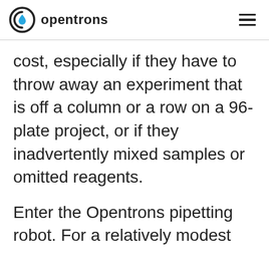opentrons
cost, especially if they have to throw away an experiment that is off a column or a row on a 96-plate project, or if they inadvertently mixed samples or omitted reagents.
Enter the Opentrons pipetting robot. For a relatively modest investment, they can automate the